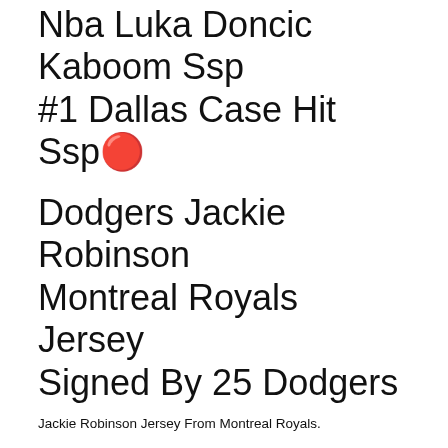Nba Luka Doncic Kaboom Ssp #1 Dallas Case Hit Ssp🔴
Dodgers Jackie Robinson Montreal Royals Jersey Signed By 25 Dodgers
Jackie Robinson Jersey From Montreal Royals.
Majesty Royal Iron Royale Lv530r 6-10 P A S 8piece Set 2019 Model 893437. We Will Get Back To You Asap!
Tudor Royal M28600-0005 Self-winding Blue Dial Stainless Steel Men's Watch W/box. Details Tudor Tudor Royal M28600-0005. Remarks "tudor Royal" Which Is Very Popular Among Tudor That Appeared In 2020. Drive Automatic Winding. Case Size 4.1 Cm (excluding Crown). Since The Waterproof Performance Deteriorates Year By Year, Even A Diver's Watch May Not Be Covered By The Warranty For Repairs That